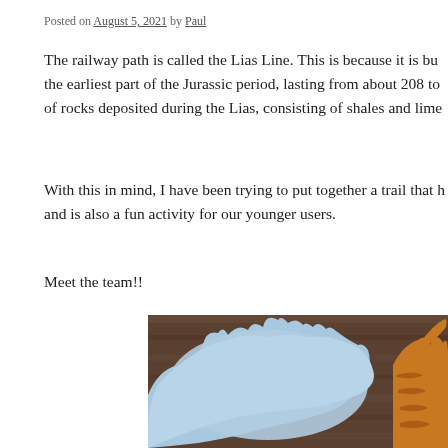Posted on August 5, 2021 by Paul
The railway path is called the Lias Line. This is because it is bu the earliest part of the Jurassic period, lasting from about 208 to of rocks deposited during the Lias, consisting of shales and lime
With this in mind, I have been trying to put together a trail that h and is also a fun activity for our younger users.
Meet the team!!
[Figure (photo): Photo of a painted wooden dinosaur figure — a light blue dinosaur silhouette with an orange/amber dinosaur partially visible to the right, on a wooden surface background.]